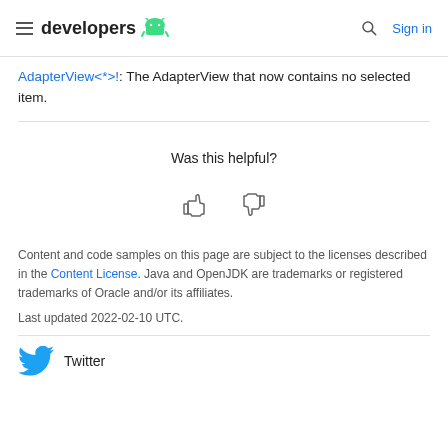developers [Android logo] | [search icon] Sign in
AdapterView<*>!: The AdapterView that now contains no selected item.
Was this helpful?
[Figure (other): Thumbs up and thumbs down icons for feedback]
Content and code samples on this page are subject to the licenses described in the Content License. Java and OpenJDK are trademarks or registered trademarks of Oracle and/or its affiliates.
Last updated 2022-02-10 UTC.
Twitter